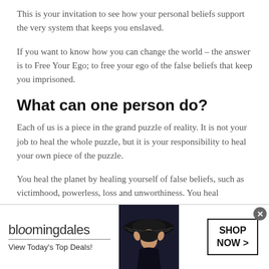This is your invitation to see how your personal beliefs support the very system that keeps you enslaved.
If you want to know how you can change the world – the answer is to Free Your Ego; to free your ego of the false beliefs that keep you imprisoned.
What can one person do?
Each of us is a piece in the grand puzzle of reality. It is not your job to heal the whole puzzle, but it is your responsibility to heal your own piece of the puzzle.
You heal the planet by healing yourself of false beliefs, such as victimhood, powerless, loss and unworthiness. You heal
[Figure (infographic): Bloomingdale's advertisement banner with logo, 'View Today's Top Deals!' tagline, woman in large hat photo, and 'SHOP NOW >' button. Close (x) button in top right corner.]